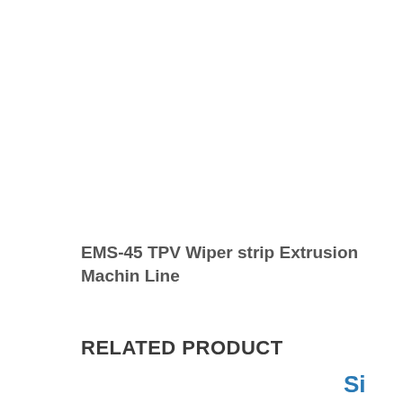EMS-45 TPV Wiper strip Extrusion Machin Line
RELATED PRODUCT
Si